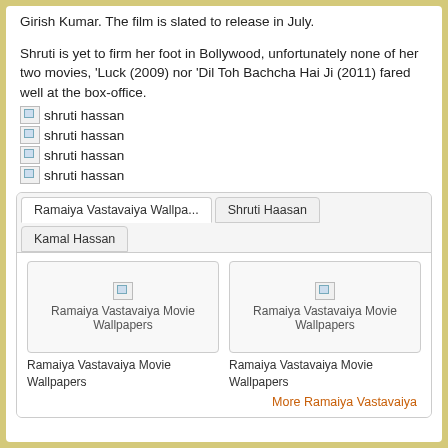Girish Kumar. The film is slated to release in July.
Shruti is yet to firm her foot in Bollywood, unfortunately none of her two movies, ‘Luck (2009) nor ‘Dil Toh Bachcha Hai Ji (2011) fared well at the box-office.
[Figure (photo): Broken image placeholder with alt text: shruti hassan]
[Figure (photo): Broken image placeholder with alt text: shruti hassan]
[Figure (photo): Broken image placeholder with alt text: shruti hassan]
[Figure (photo): Broken image placeholder with alt text: shruti hassan]
| Ramaiya Vastavaiya Wallpa... | Shruti Haasan | Kamal Hassan |
| --- | --- | --- |
| Ramaiya Vastavaiya Movie Wallpapers | Ramaiya Vastavaiya Movie Wallpapers |  |
| More Ramaiya Vastavaiya |  |  |